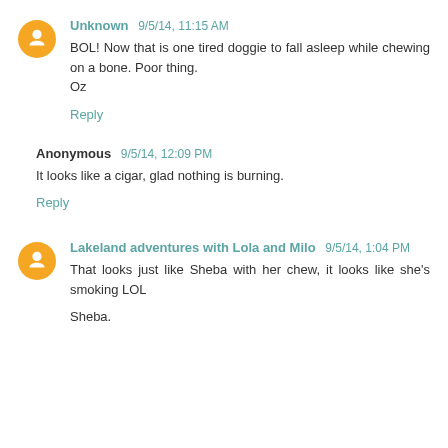Unknown 9/5/14, 11:15 AM
BOL! Now that is one tired doggie to fall asleep while chewing on a bone. Poor thing.
Oz
Reply
Anonymous 9/5/14, 12:09 PM
It looks like a cigar, glad nothing is burning.
Reply
Lakeland adventures with Lola and Milo 9/5/14, 1:04 PM
That looks just like Sheba with her chew, it looks like she's smoking LOL

Sheba.